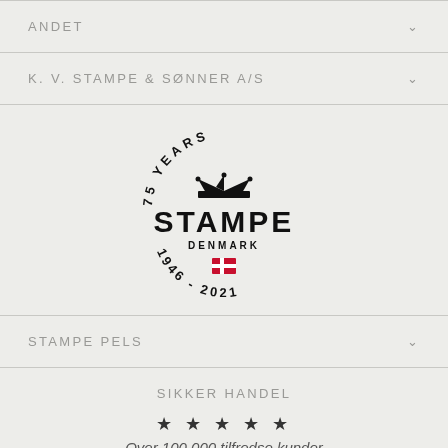ANDET
K. V. STAMPE & SØNNER A/S
[Figure (logo): Stampe Denmark 75 Years logo, 1946-2021, circular badge with crown, Danish flag]
STAMPE PELS
SIKKER HANDEL
★ ★ ★ ★ ★
Over 100.000 tilfredse kunder